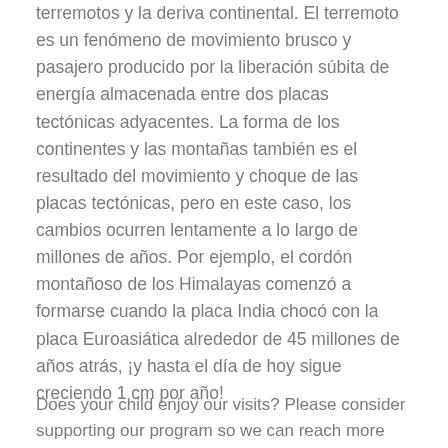terremotos y la deriva continental. El terremoto es un fenómeno de movimiento brusco y pasajero producido por la liberación súbita de energía almacenada entre dos placas tectónicas adyacentes. La forma de los continentes y las montañas también es el resultado del movimiento y choque de las placas tectónicas, pero en este caso, los cambios ocurren lentamente a lo largo de millones de años. Por ejemplo, el cordón montañoso de los Himalayas comenzó a formarse cuando la placa India chocó con la placa Euroasiática alrededor de 45 millones de años atrás, ¡y hasta el día de hoy sigue creciendo 1 cm por año!
Does your child enjoy our visits? Please consider supporting our program so we can reach more students!